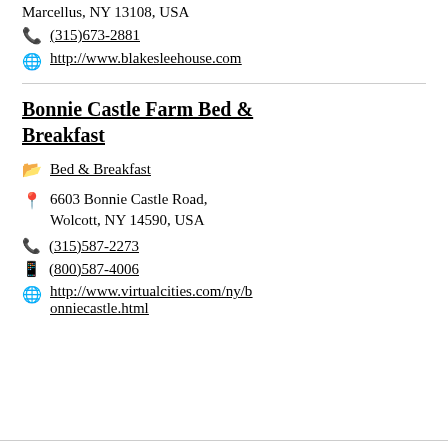Marcellus, NY 13108, USA
(315)673-2881
http://www.blakesleehouse.com
Bonnie Castle Farm Bed & Breakfast
Bed & Breakfast
6603 Bonnie Castle Road, Wolcott, NY 14590, USA
(315)587-2273
(800)587-4006
http://www.virtualcities.com/ny/bonniecastle.html